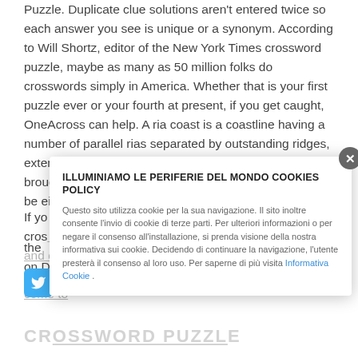Puzzle. Duplicate clue solutions aren't entered twice so each answer you see is unique or a synonym. According to Will Shortz, editor of the New York Times crossword puzzle, maybe as many as 50 million folks do crosswords simply in America. Whether that is your first puzzle ever or your fourth at present, if you get caught, OneAcross can help. A ria coast is a coastline having a number of parallel rias separated by outstanding ridges, extending a distance inland. The sea stage change that brought on the submergence of a river valley could also be either eustatic , or isostatic .
If yo... crossword answers and options then you've come to the ... now on D...
[Figure (other): Twitter share button (blue rounded rectangle with Twitter bird icon)]
CROSSWORD PUZZLE
ILLUMINIAMO LE PERIFERIE DEL MONDO COOKIES POLICY
Questo sito utilizza cookie per la sua navigazione. Il sito inoltre consente l'invio di cookie di terze parti. Per ulteriori informazioni o per negare il consenso all'installazione, si prenda visione della nostra informativa sui cookie. Decidendo di continuare la navigazione, l'utente presterà il consenso al loro uso. Per saperne di più visita Informativa Cookie .